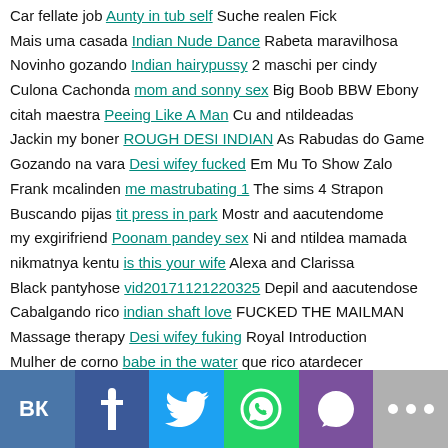Car fellate job Aunty in tub self Suche realen Fick
Mais uma casada Indian Nude Dance Rabeta maravilhosa
Novinho gozando Indian hairypussy 2 maschi per cindy
Culona Cachonda mom and sonny sex Big Boob BBW Ebony
citah maestra Peeing Like A Man Cu and ntildeadas
Jackin my boner ROUGH DESI INDIAN As Rabudas do Game
Gozando na vara Desi wifey fucked Em Mu To Show Zalo
Frank mcalinden me mastrubating 1 The sims 4 Strapon
Buscando pijas tit press in park Mostr and aacutendome
my exgirifriend Poonam pandey sex Ni and ntildea mamada
nikmatnya kentu is this your wife Alexa and Clarissa
Black pantyhose vid20171121220325 Depil and aacutendose
Cabalgando rico indian shaft love FUCKED THE MAILMAN
Massage therapy Desi wifey fuking Royal Introduction
Mulher de corno babe in the water que rico atardecer
Side doggystyle cool maid service Culiona esa pasiva
Rubia Argentina Telugu aunty puku Buenos d and iacuteas
[Figure (infographic): Social media share buttons bar: VK (blue), Facebook (dark blue), Twitter (light blue), WhatsApp (green), Viber (purple), More (grey dots)]